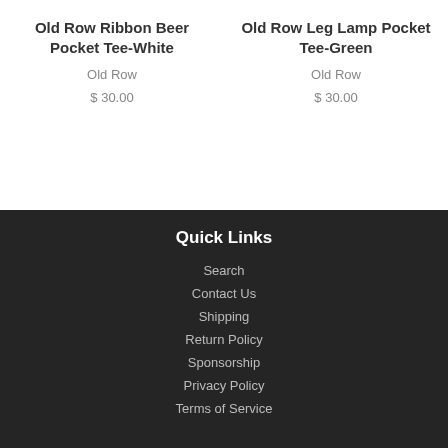Old Row Ribbon Beer Pocket Tee-White
Old Row
$ 30.00
Old Row Leg Lamp Pocket Tee-Green
Old Row
$ 30.00
Quick Links
Search
Contact Us
Shipping
Return Policy
Sponsorship
Privacy Policy
Terms of Service